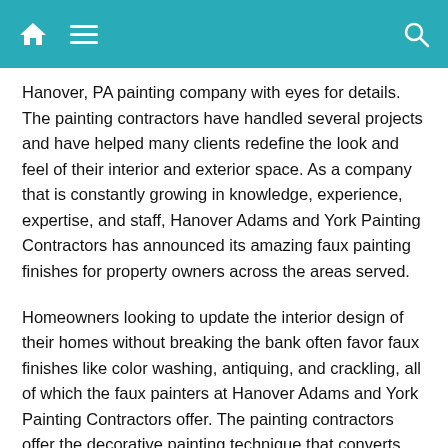[home icon] [menu icon] [search icon]
Hanover, PA painting company with eyes for details. The painting contractors have handled several projects and have helped many clients redefine the look and feel of their interior and exterior space. As a company that is constantly growing in knowledge, experience, expertise, and staff, Hanover Adams and York Painting Contractors has announced its amazing faux painting finishes for property owners across the areas served.
Homeowners looking to update the interior design of their homes without breaking the bank often favor faux finishes like color washing, antiquing, and crackling, all of which the faux painters at Hanover Adams and York Painting Contractors offer. The painting contractors offer the decorative painting technique that converts the appearance of surfaces into other materials like wood, granite, or fabric. With faux finishes, clients can add texture and dimension to their homes. Being a trickier painting service, Hanover Adams and